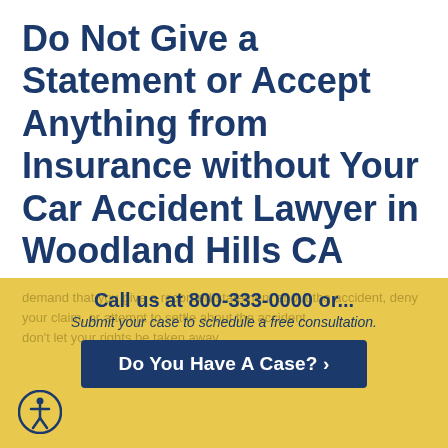Do Not Give a Statement or Accept Anything from Insurance without Your Car Accident Lawyer in Woodland Hills CA
It's critical to understand that insurance companies, even your own, are not on your side in the aftermath of an accident. An insurance adjuster may recommend or even
Call us at 800-333-0000 or...
Submit your case to schedule a free consultation.
Do You Have A Case? ›